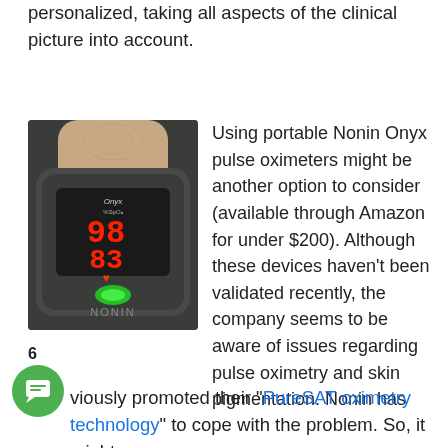personalized, taking all aspects of the clinical picture into account.
[Figure (photo): Photo of a Nonin pulse oximeter clipped onto a finger, showing red digital display reading 98 SpO2 and 83 pulse rate with a green LED sensor light. The device is dark grey with 'Nonin' branding visible.]
Using portable Nonin Onyx pulse oximeters might be another option to consider (available through Amazon for under $200).  Although these devices haven't been validated recently, the company seems to be aware of issues regarding pulse oximetry and skin pigmentation.  Nonin has previously promoted their “PureSAT oximetry technology” to cope with the problem.  So, it might
6
viously promoted their “PureSAT oximetry technology” to cope with the problem.  So, it might